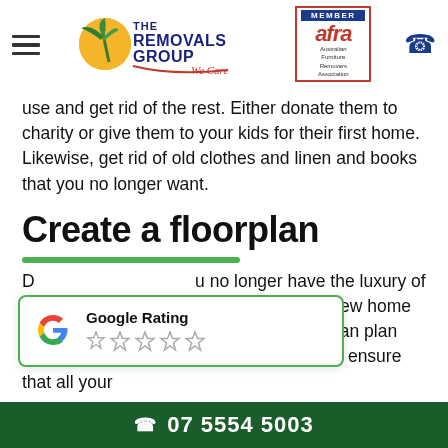The Removals Group - AFRA Member
use and get rid of the rest. Either donate them to charity or give them to your kids for their first home. Likewise, get rid of old clothes and linen and books that you no longer want.
Create a floorplan
[Figure (other): Google Rating popup overlay showing Google G logo and 5 empty star rating]
Do no longer have the luxury of space, take a picture of your new home and draw out a floor plan. This way you can plan where everything goes ahead of time and ensure that all your
07 5554 5003